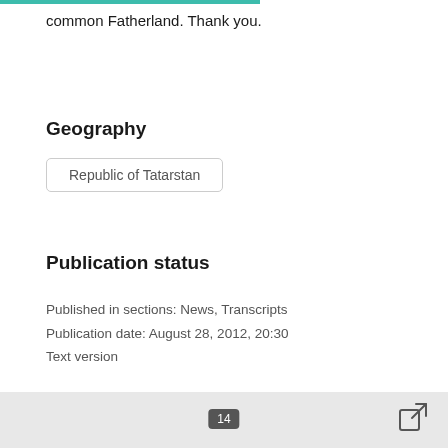common Fatherland. Thank you.
Geography
Republic of Tatarstan
Publication status
Published in sections: News, Transcripts
Publication date: August 28, 2012, 20:30
Text version
14